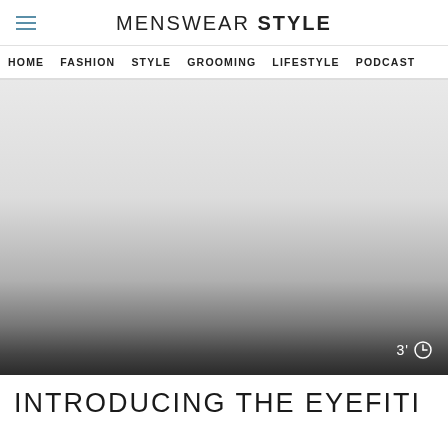MENSWEAR STYLE
HOME   FASHION   STYLE   GROOMING   LIFESTYLE   PODCAST
[Figure (photo): Large hero image area with a light grey gradient fading to dark at the bottom, with a time indicator '3'' and a clock icon in the bottom right corner.]
INTRODUCING THE EYEFITI